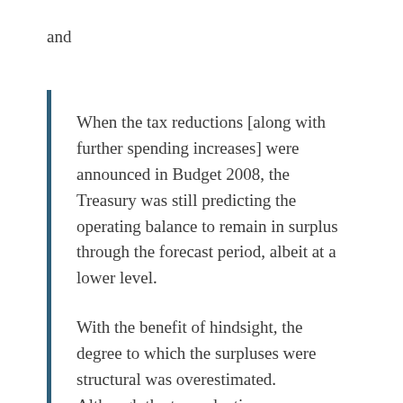and
When the tax reductions [along with further spending increases] were announced in Budget 2008, the Treasury was still predicting the operating balance to remain in surplus through the forecast period, albeit at a lower level.
With the benefit of hindsight, the degree to which the surpluses were structural was overestimated. Although the tax reductions announced in 2008 turned out to be